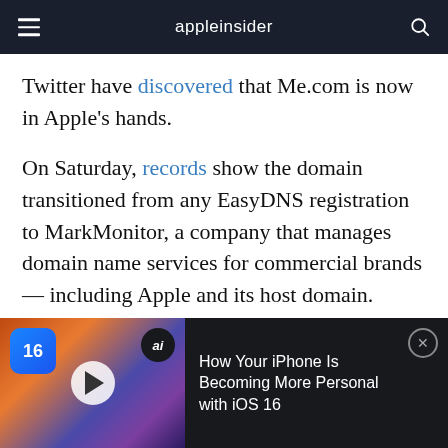appleinsider
Twitter have discovered that Me.com is now in Apple's hands.
On Saturday, records show the domain transitioned from any EasyDNS registration to MarkMonitor, a company that manages domain name services for commercial brands — including Apple and its host domain. MarkMonitor was most recently used to park various MacBook Air-related domains by the
[Figure (screenshot): Advertisement banner: iOS 16 promotional video with thumbnail showing iPhone, HomePod mini, AirPods, Apple Watch. Text reads: How Your iPhone Is Becoming More Personal with iOS 16]